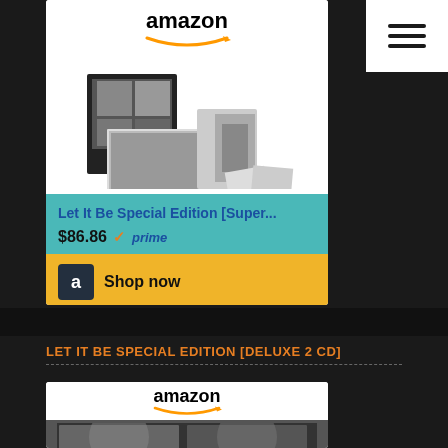[Figure (screenshot): Amazon product card for 'Let It Be Special Edition [Super...]' priced at $86.86 with Prime badge and Shop now button]
[Figure (logo): Hamburger menu icon (three horizontal lines) in white box, top right]
LET IT BE SPECIAL EDITION [DELUXE 2 CD]
[Figure (screenshot): Amazon product card for Let It Be Special Edition Deluxe 2 CD with album cover image]